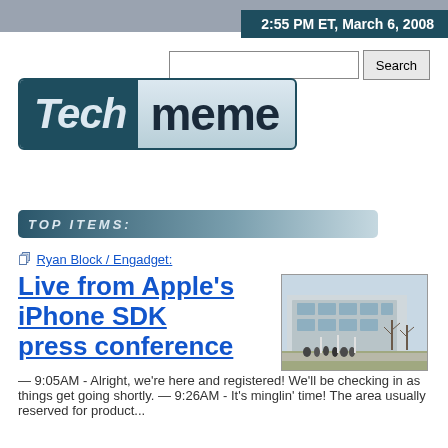2:55 PM ET, March 6, 2008
[Figure (logo): Techmeme logo with italicized 'Tech' on dark teal background and 'meme' on light blue background]
TOP ITEMS:
Ryan Block / Engadget:
Live from Apple's iPhone SDK press conference
[Figure (photo): Exterior photo of a building with people lined up outside, taken in winter with bare trees visible]
— 9:05AM - Alright, we're here and registered! We'll be checking in as things get going shortly. — 9:26AM - It's minglin' time! The area usually reserved for product...